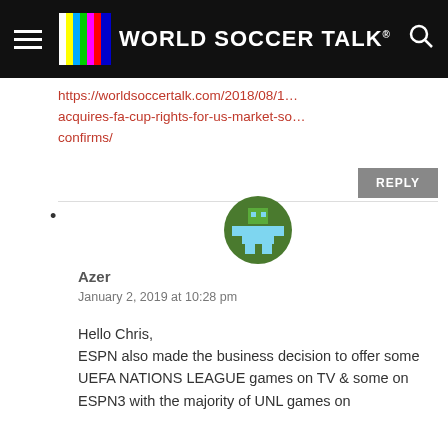World Soccer Talk
https://worldsoccertalk.com/2018/08/1... acquires-fa-cup-rights-for-us-market-so... confirms/
REPLY
Azer
January 2, 2019 at 10:28 pm
Hello Chris,
ESPN also made the business decision to offer some UEFA NATIONS LEAGUE games on TV & some on ESPN3 with the majority of UNL games on